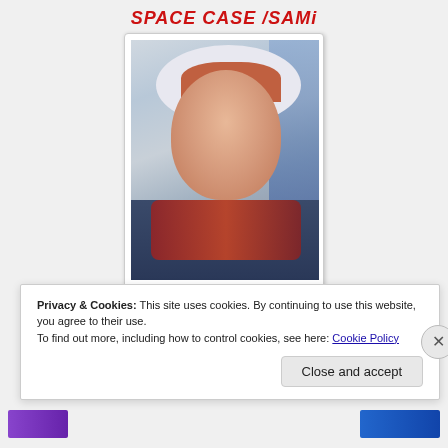[Figure (photo): A Polaroid-style photo of a person with red/auburn hair wearing a white hat and colorful scarf and dark jacket, labeled 'SPACE CASE /SAMi' in red handwritten text at the top, with a red decorative fish/geometric pattern at the bottom]
Privacy & Cookies: This site uses cookies. By continuing to use this website, you agree to their use.
To find out more, including how to control cookies, see here: Cookie Policy